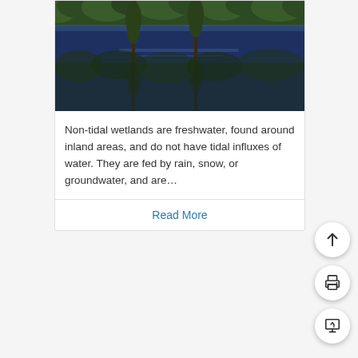[Figure (photo): A calm wetland scene with tall cypress trees reflected on a still dark blue water surface, with green forest in the background.]
Non-tidal wetlands are freshwater, found around inland areas, and do not have tidal influxes of water. They are fed by rain, snow, or groundwater, and are…
Read More